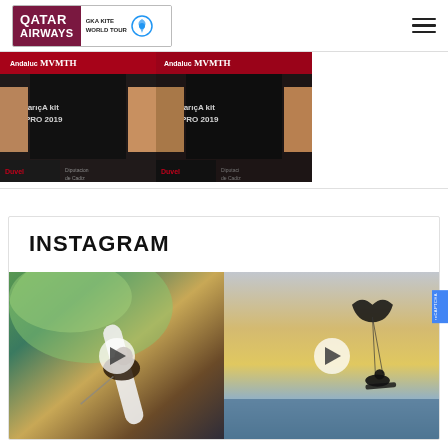[Figure (logo): Qatar Airways GKA Kite World Tour logo banner in header]
[Figure (photo): Hamburger/menu icon in top right corner]
[Figure (photo): Two photos side by side of people at a kiteboarding event with MVMT branding, Tarifa Kite Pro 2019]
INSTAGRAM
[Figure (photo): Two Instagram video thumbnails side by side: left shows surfer/kiteboarder in wave, right shows kitesurfer silhouette against sunset sky. Both have play buttons.]